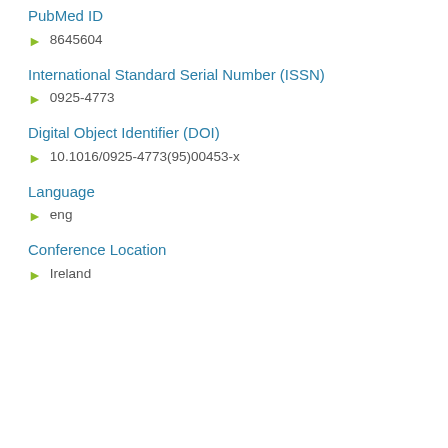PubMed ID
8645604
International Standard Serial Number (ISSN)
0925-4773
Digital Object Identifier (DOI)
10.1016/0925-4773(95)00453-x
Language
eng
Conference Location
Ireland